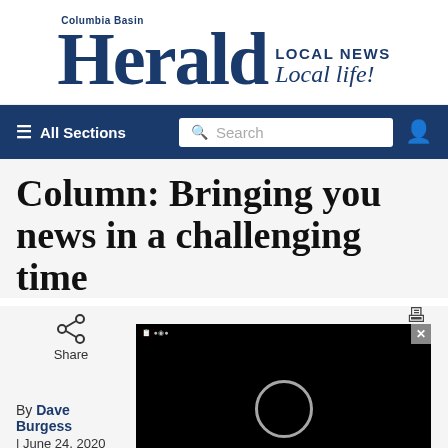[Figure (logo): Columbia Basin Herald newspaper logo with 'LOCAL NEWS Local life!' tagline]
[Figure (screenshot): Navigation bar with hamburger menu 'All Sections', search box, and user icon on dark blue background]
Column: Bringing you news in a challenging time
Share
[Figure (screenshot): Black video player with circular loading indicator and close button]
By Dave Burgess | June 24, 2020 11:41 PM